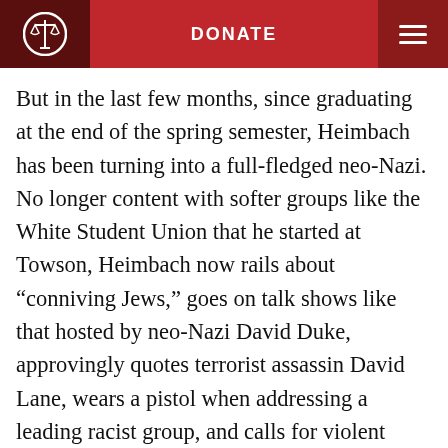DONATE
But in the last few months, since graduating at the end of the spring semester, Heimbach has been turning into a full-fledged neo-Nazi. No longer content with softer groups like the White Student Union that he started at Towson, Heimbach now rails about “conniving Jews,” goes on talk shows like that hosted by neo-Nazi David Duke, approvingly quotes terrorist assassin David Lane, wears a pistol when addressing a leading racist group, and calls for violent revolution.
“Revolution is the only answer to our plight,”